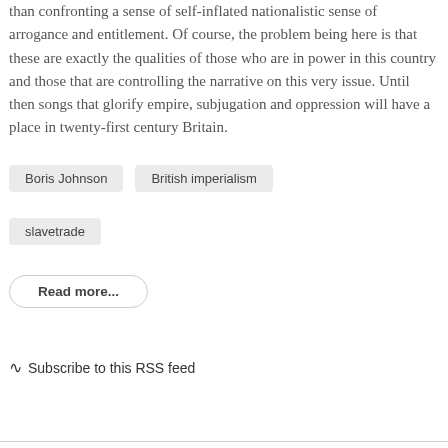than confronting a sense of self-inflated nationalistic sense of arrogance and entitlement. Of course, the problem being here is that these are exactly the qualities of those who are in power in this country and those that are controlling the narrative on this very issue. Until then songs that glorify empire, subjugation and oppression will have a place in twenty-first century Britain.
Boris Johnson
British imperialism
slavetrade
Read more...
Subscribe to this RSS feed